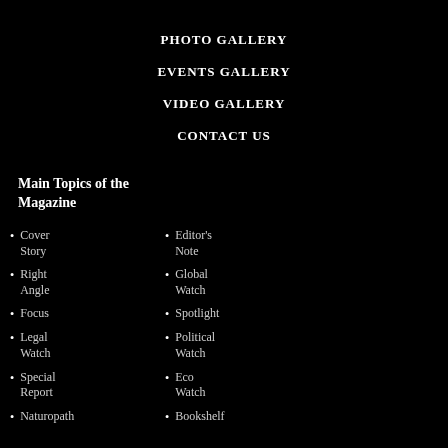PHOTO GALLERY
EVENTS GALLERY
VIDEO GALLERY
CONTACT US
Main Topics of the Magazine
Cover Story
Editor's Note
Right Angle
Global Watch
Focus
Spotlight
Legal Watch
Political Watch
Special Report
Eco Watch
Naturopath
Bookshelf